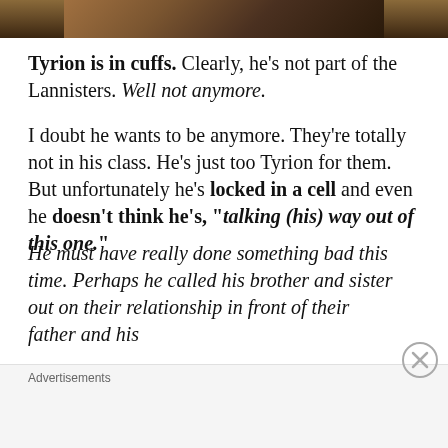[Figure (photo): Partial photograph of a scene, cropped at top, showing warm brown/amber tones]
Tyrion is in cuffs. Clearly, he's not part of the Lannisters. Well not anymore.
I doubt he wants to be anymore. They're totally not in his class. He's just too Tyrion for them. But unfortunately he's locked in a cell and even he doesn't think he's, "talking (his) way out of this one."
He must have really done something bad this time. Perhaps he called his brother and sister out on their relationship in front of their father and his
Advertisements